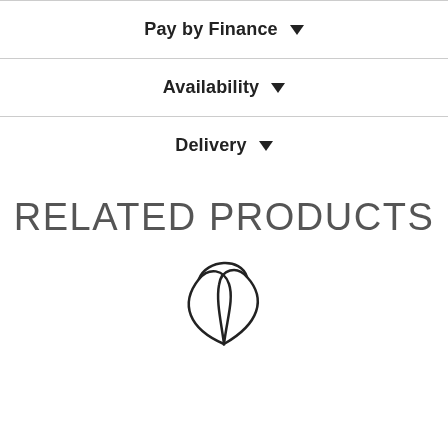Pay by Finance ▾
Availability ▾
Delivery ▾
RELATED PRODUCTS
[Figure (logo): Abstract curved heart/leaf logo mark in dark ink]